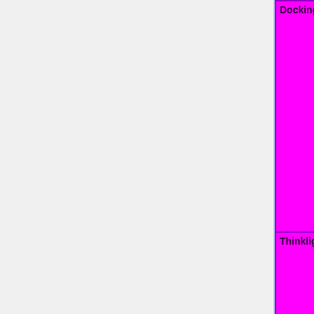| Feature | Status |
| --- | --- |
| Docking Displayport | OK=lime | TODO=red | No=red | WIP=orange | Untested=yellow | N/A=lightgray yellow }}" | N/A |
| Thinklight | OK=lime | TODO=red | No=red | WIP=orange | Untested=yellow | N/A=lightgray yellow }}" | N/A |
| Webcam | OK=lime | TODO=red | No=red | WIP=orange | Untested=yellow | N/A=lightgray yellow }}" | N/A |
| Miscellaneous |  |
| Sensors / fan control | OK=lime | TODO=red | |